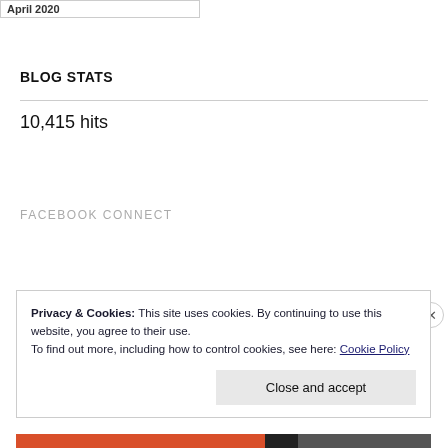April 2020
BLOG STATS
10,415 hits
FACEBOOK CONNECT
Privacy & Cookies: This site uses cookies. By continuing to use this website, you agree to their use.
To find out more, including how to control cookies, see here: Cookie Policy
Close and accept